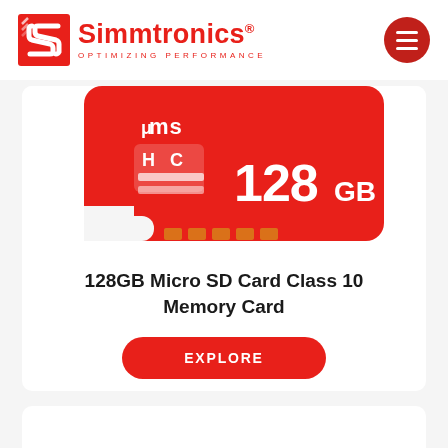[Figure (logo): Simmtronics logo with red S icon and text 'Simmtronics OPTIMIZING PERFORMANCE']
[Figure (photo): Red 128GB microSD HC memory card product image]
128GB Micro SD Card Class 10 Memory Card
EXPLORE